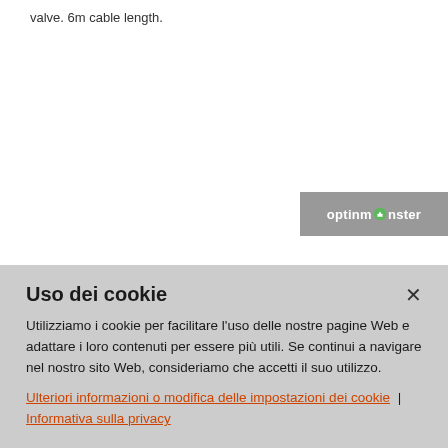valve. 6m cable length.
[Figure (logo): OptinMonster logo bar — grey background with white text 'optinmonster' and a green monster icon]
Uso dei cookie
Utilizziamo i cookie per facilitare l'uso delle nostre pagine Web e adattare i loro contenuti per essere più utili. Se continui a navigare nel nostro sito Web, consideriamo che accetti il suo utilizzo.
Ulteriori informazioni o modifica delle impostazioni dei cookie | Informativa sulla privacy